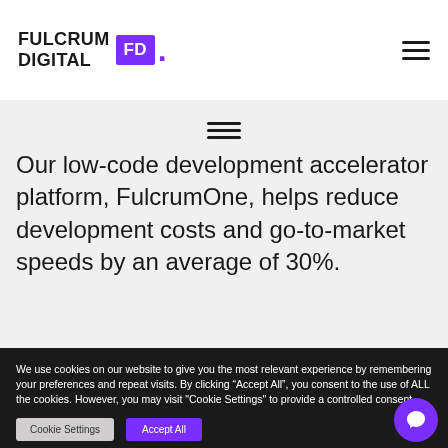[Figure (logo): Fulcrum Digital logo with purple FD badge and purple dot]
Our low-code development accelerator platform, FulcrumOne, helps reduce development costs and go-to-market speeds by an average of 30%.
We use cookies on our website to give you the most relevant experience by remembering your preferences and repeat visits. By clicking “Accept All”, you consent to the use of ALL the cookies. However, you may visit "Cookie Settings" to provide a controlled consent.